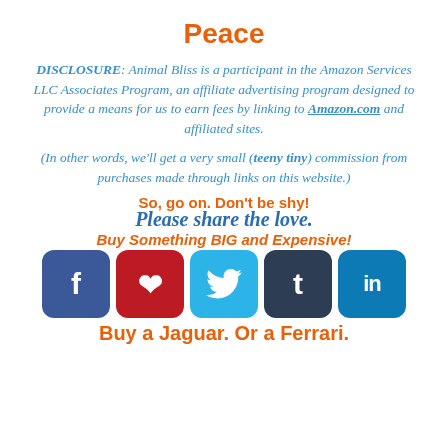Peace
DISCLOSURE: Animal Bliss is a participant in the Amazon Services LLC Associates Program, an affiliate advertising program designed to provide a means for us to earn fees by linking to Amazon.com and affiliated sites.
(In other words, we'll get a very small (teeny tiny) commission from purchases made through links on this website.)
So, go on. Don't be shy!
Please share the love.
Buy Something BIG and Expensive!
[Figure (infographic): Row of social media sharing buttons: Facebook (blue), Pinterest (red), Twitter (light blue), Tumblr (dark blue), LinkedIn (blue)]
Buy a Jaguar. Or a Ferrari.